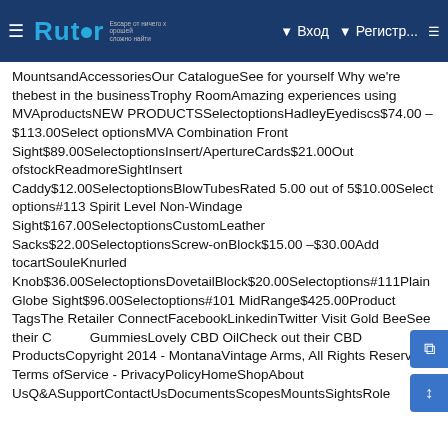Rutor — Вход — Регистр...
MountsandAccessoriesOur CatalogueSee for yourself Why we're thebest in the businessTrophy RoomAmazing experiences using MVAproductsNEW PRODUCTSSelectoptionsHadleyEyediscs$74.00 – $113.00Select optionsMVA Combination Front Sight$89.00SelectoptionsInsert/ApertureCards$21.00Out ofstockReadmoreSightInsert Caddy$12.00SelectoptionsBlowTubesRated 5.00 out of 5$10.00Select options#113 Spirit Level Non-Windage Sight$167.00SelectoptionsCustomLeather Sacks$22.00SelectoptionsScrew-onBlock$15.00 –$30.00Add tocartSouleKnurled Knob$36.00SelectoptionsDovetailBlock$20.00Selectoptions#111Plain Globe Sight$96.00Selectoptions#101 MidRange$425.00Product TagsThe Retailer ConnectFacebookLinkedinTwitter Visit Gold BeeSee their CBD GummiesLovely CBD OilCheck out their CBD ProductsCopyright 2014 - MontanaVintage Arms, All Rights Reserved Terms ofService - PrivacyPolicyHomeShopAbout UsQ&ASupportContactUsDocumentsScopesMountsSightsRole